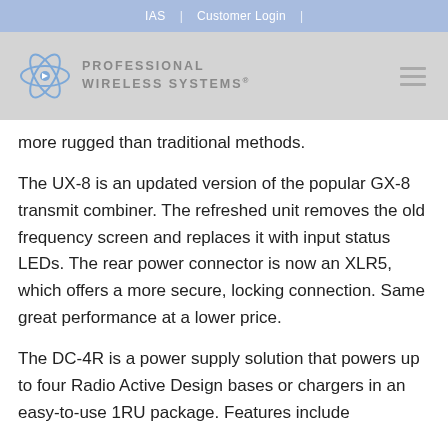IAS | Customer Login |
[Figure (logo): Professional Wireless Systems logo with atom/orbital icon and hamburger menu icon on right]
more rugged than traditional methods.
The UX-8 is an updated version of the popular GX-8 transmit combiner. The refreshed unit removes the old frequency screen and replaces it with input status LEDs. The rear power connector is now an XLR5, which offers a more secure, locking connection. Same great performance at a lower price.
The DC-4R is a power supply solution that powers up to four Radio Active Design bases or chargers in an easy-to-use 1RU package. Features include